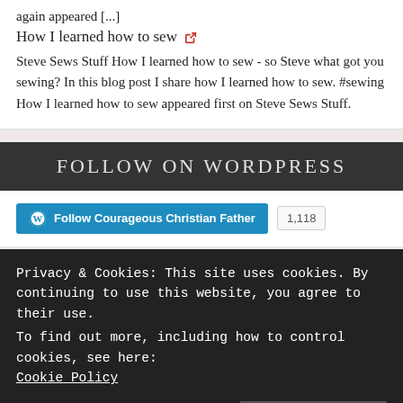again appeared [...]
How I learned how to sew
Steve Sews Stuff How I learned how to sew - so Steve what got you sewing? In this blog post I share how I learned how to sew. #sewing How I learned how to sew appeared first on Steve Sews Stuff.
FOLLOW ON WORDPRESS
Follow Courageous Christian Father  1,118
Search ...
Privacy & Cookies: This site uses cookies. By continuing to use this website, you agree to their use.
To find out more, including how to control cookies, see here:
Cookie Policy
Close and accept
TRUE LIFE CHURCH